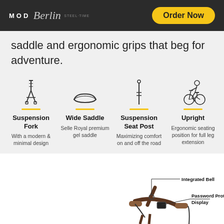MOD Berlin Steel-Time | Order Now
saddle and ergonomic grips that beg for adventure.
[Figure (infographic): Four feature icons with labels: Suspension Fork (With a modern & minimal design), Wide Saddle (Selle Royal premium gel saddle), Suspension Seat Post (Maximizing comfort on and off the road), Upright (Ergonomic seating position for full leg extension)]
[Figure (photo): Close-up photo of a bicycle handlebar area with two callout labels: 'Integrated Bell' pointing to the bell, and 'Password Protected Display' pointing to the display unit.]